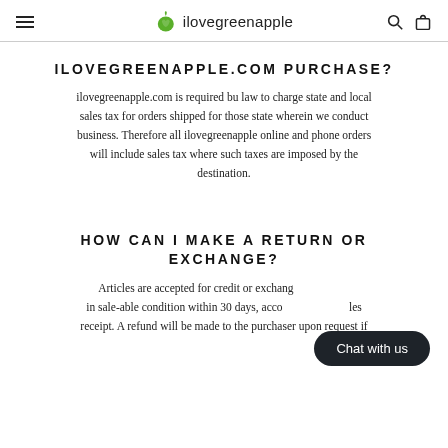ilovegreenapple
ILOVEGREENAPPLE.COM PURCHASE?
ilovegreenapple.com is required bu law to charge state and local sales tax for orders shipped for those state wherein we conduct business. Therefore all ilovegreenapple online and phone orders will include sales tax where such taxes are imposed by the destination.
HOW CAN I MAKE A RETURN OR EXCHANGE?
Articles are accepted for credit or exchange if returned in sale-able condition within 30 days, accompanied by a sales receipt. A refund will be made to the purchaser upon request if